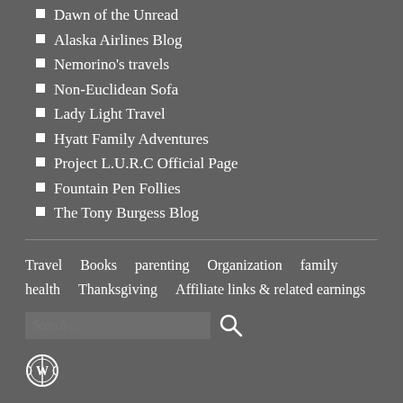Dawn of the Unread
Alaska Airlines Blog
Nemorino's travels
Non-Euclidean Sofa
Lady Light Travel
Hyatt Family Adventures
Project L.U.R.C Official Page
Fountain Pen Follies
The Tony Burgess Blog
Travel   Books   parenting   Organization   family   health   Thanksgiving   Affiliate links & related earnings
Search ...
[Figure (logo): WordPress logo circle icon]